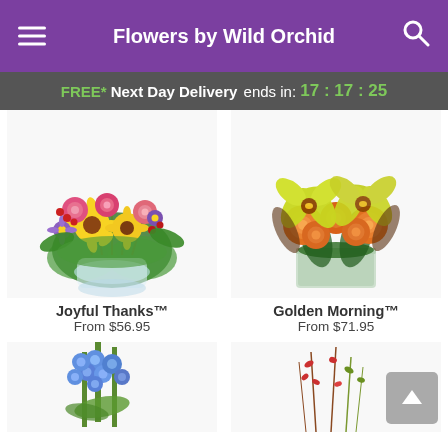Flowers by Wild Orchid
FREE* Next Day Delivery ends in: 17:17:25
[Figure (photo): Colorful flower bouquet with pink roses, yellow daisies, purple asters, and red berries in a glass vase - Joyful Thanks]
[Figure (photo): Yellow orchids and orange roses in a square glass cube vase - Golden Morning]
Joyful Thanks™
From $56.95
Golden Morning™
From $71.95
[Figure (photo): Blue delphinium flowers partially visible at bottom of page]
[Figure (photo): Thin stemmed flowers/branches partially visible at bottom right of page]